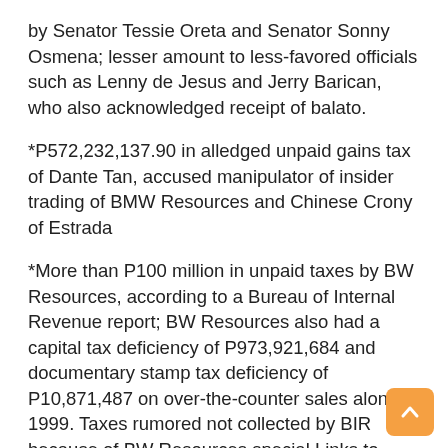by Senator Tessie Oreta and Senator Sonny Osmena; lesser amount to less-favored officials such as Lenny de Jesus and Jerry Barican, who also acknowledged receipt of balato.
*P572,232,137.90 in alledged unpaid gains tax of Dante Tan, accused manipulator of insider trading of BMW Resources and Chinese Crony of Estrada
*More than P100 million in unpaid taxes by BW Resources, according to a Bureau of Internal Revenue report; BW Resources also had a capital tax deficiency of P973,921,684 and documentary stamp tax deficiency of P10,871,487 on over-the-counter sales alone in 1999. Taxes rumored not collected by BIR because of BW Resources special Links to Palace (Malaya,January 17,2001)
*Joseph Estrada's personal account of US$3 million and P100 million in a Citibank...